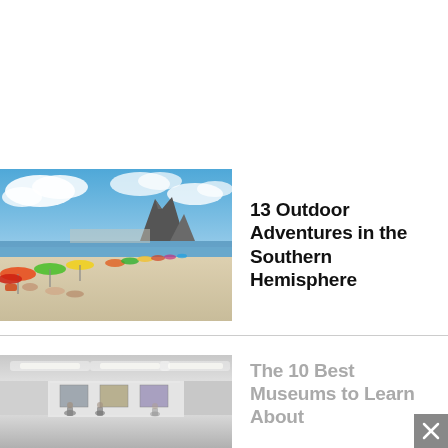[Figure (photo): Beach scene with colorful umbrellas, people sunbathing on a sandy beach, blue sky with clouds, and a distinctive two-peaked mountain in the background (Ipanema/Copacabana, Rio de Janeiro)]
13 Outdoor Adventures in the Southern Hemisphere
[Figure (photo): Interior of a museum gallery with white walls, fluorescent lighting, and people viewing exhibits]
The 10 Best Museums to Learn About